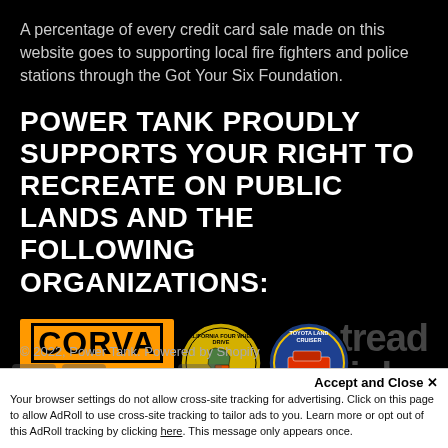A percentage of every credit card sale made on this website goes to supporting local fire fighters and police stations through the Got Your Six Foundation.
POWER TANK PROUDLY SUPPORTS YOUR RIGHT TO RECREATE ON PUBLIC LANDS AND THE FOLLOWING ORGANIZATIONS:
[Figure (logo): CORVA California Off-Road Vehicle Association logo (orange rectangle with black border and text), California Four Wheel Drive Association Inc circular logo (yellow/gold circle with green California map and off-road vehicle), Toyota Land Cruiser Association circular logo (blue circle with red Land Cruiser vehicle), and partially visible Tread Lightly logo text in background. A yellow rounded-rectangle 'Top' button is shown in the lower right.]
© 2022, Power Tank. Powered by Shopify
Accept and Close ✕
Your browser settings do not allow cross-site tracking for advertising. Click on this page to allow AdRoll to use cross-site tracking to tailor ads to you. Learn more or opt out of this AdRoll tracking by clicking here. This message only appears once.